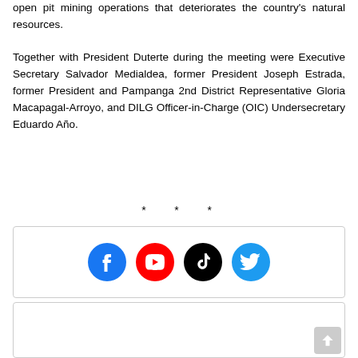open pit mining operations that deteriorates the country's natural resources.
Together with President Duterte during the meeting were Executive Secretary Salvador Medialdea, former President Joseph Estrada, former President and Pampanga 2nd District Representative Gloria Macapagal-Arroyo, and DILG Officer-in-Charge (OIC) Undersecretary Eduardo Año.
* * *
[Figure (infographic): Social media icons: Facebook (blue), YouTube (red), TikTok (black), Twitter (blue)]
[Figure (other): Comment input box area with back-to-top button]